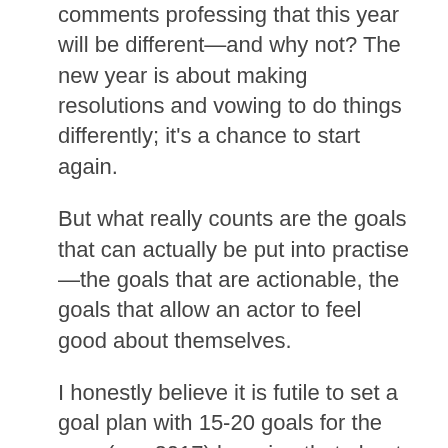comments professing that this year will be different—and why not? The new year is about making resolutions and vowing to do things differently; it's a chance to start again.
But what really counts are the goals that can actually be put into practise—the goals that are actionable, the goals that allow an actor to feel good about themselves.
I honestly believe it is futile to set a goal plan with 15-20 goals for the year (say 2017) knowing that about half to three quarters of them can't actually be worked on in the immediate future. Not everyone is John Boyega and will land a lead role in Star Wars early on, thus creating a dream career